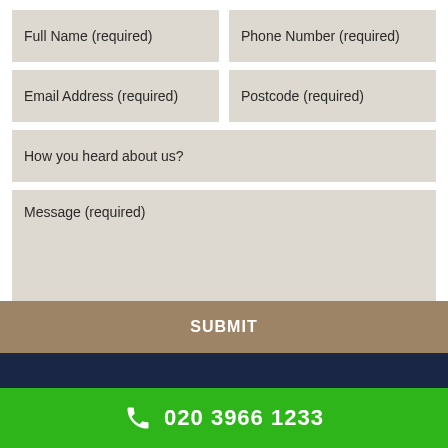Full Name (required)
Phone Number (required)
Email Address (required)
Postcode (required)
How you heard about us?
Message (required)
SUBMIT
020 3966 1233